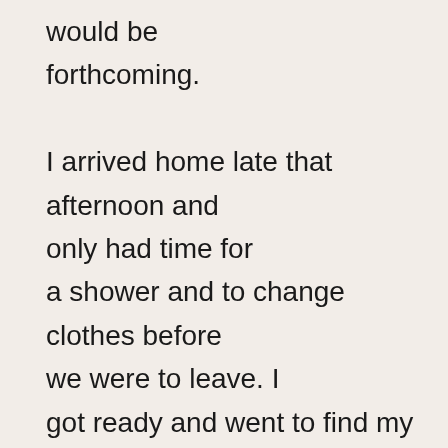would be forthcoming.

I arrived home late that afternoon and only had time for a shower and to change clothes before we were to leave. I got ready and went to find my two ladies. Julianne was scrumptious as usual, but the surprise was Dolphie. She had on a little black number, with